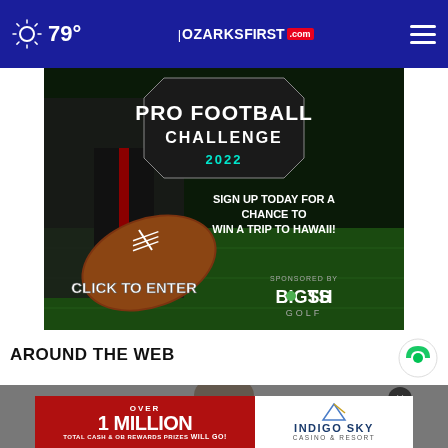79° | OZARKSFIRST.com
[Figure (screenshot): Pro Football Challenge 2022 advertisement - Sign up today for a chance to win a trip to Hawaii! Click to Enter. Sponsored by BigShots Golf.]
AROUND THE WEB
[Figure (photo): Person in background, partially visible, with advertisement overlaid at bottom: Over 1 Million Total Cash & OB Rewards Prizes Will Go! Indigo Sky Casino & Resort.]